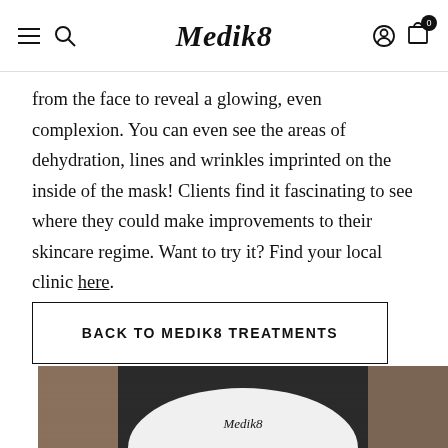Medik8
from the face to reveal a glowing, even complexion. You can even see the areas of dehydration, lines and wrinkles imprinted on the inside of the mask! Clients find it fascinating to see where they could make improvements to their skincare regime. Want to try it? Find your local clinic here.
BACK TO MEDIK8 TREATMENTS
[Figure (photo): Partial view of a person wearing a white Medik8 branded facial mask, showing the brand name on the mask against a dark textured background.]